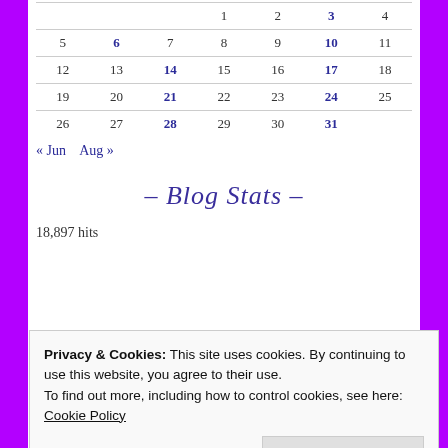|  |  |  |  |  |  |  |
| --- | --- | --- | --- | --- | --- | --- |
|  |  |  | 1 | 2 | 3 | 4 |
| 5 | 6 | 7 | 8 | 9 | 10 | 11 |
| 12 | 13 | 14 | 15 | 16 | 17 | 18 |
| 19 | 20 | 21 | 22 | 23 | 24 | 25 |
| 26 | 27 | 28 | 29 | 30 | 31 |  |
« Jun   Aug »
– Blog Stats –
18,897 hits
Privacy & Cookies: This site uses cookies. By continuing to use this website, you agree to their use.
To find out more, including how to control cookies, see here:
Cookie Policy
Close and accept